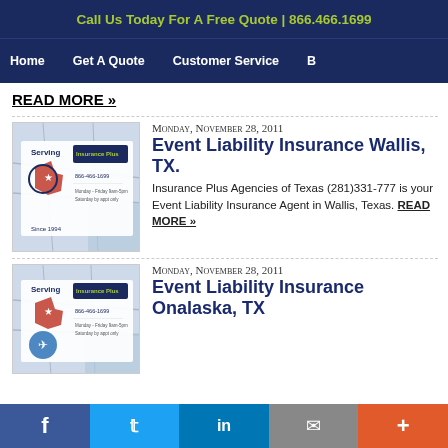Call Us Today For A Free Quote | 866.466.1699
Home | Get A Quote | Customer Service | B
READ MORE »
[Figure (screenshot): Insurance Plus Agencies of Texas business card with Texas map background, showing logo, phone 866-466-1699, and 'Serving Since 1994']
Monday, November 28, 2011
Event Liability Insurance Wallis, TX.
Insurance Plus Agencies of Texas (281)331-777 is your Event Liability Insurance Agent in Wallis, Texas. READ MORE »
[Figure (screenshot): Insurance Plus Agencies of Texas business card with Texas map background, showing logo, phone 866-466-1699]
Monday, November 28, 2011
Event Liability Insurance Onalaska, TX